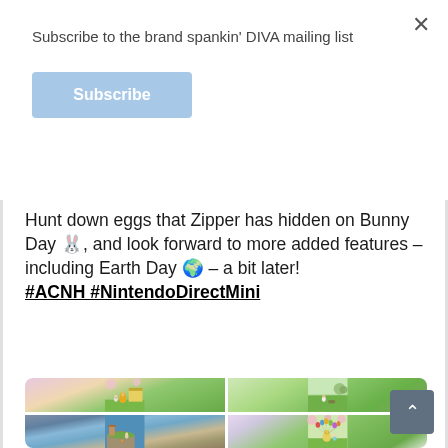Subscribe to the brand spankin' DIVA mailing list
Subscribe
Hunt down eggs that Zipper has hidden on Bunny Day 🐰, and look forward to more added features – including Earth Day 🌍 – a bit later! #ACNH #NintendoDirectMini
[Figure (screenshot): Four Animal Crossing: New Horizons game screenshots arranged in a 2x2 grid showing Bunny Day event scenes with characters, eggs, and spring scenery]